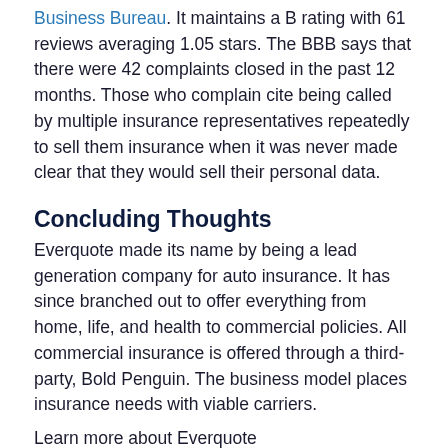Business Bureau. It maintains a B rating with 61 reviews averaging 1.05 stars. The BBB says that there were 42 complaints closed in the past 12 months. Those who complain cite being called by multiple insurance representatives repeatedly to sell them insurance when it was never made clear that they would sell their personal data.
Concluding Thoughts
Everquote made its name by being a lead generation company for auto insurance. It has since branched out to offer everything from home, life, and health to commercial policies. All commercial insurance is offered through a third-party, Bold Penguin. The business model places insurance needs with viable carriers.
Learn more about Everquote
Methodology
CommercialInsurance.net employs its own independent research to come up with the details for reviews. We do